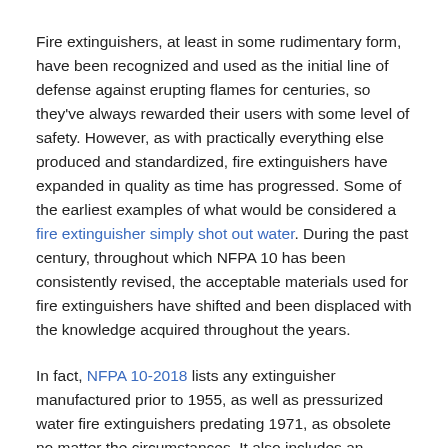Fire extinguishers, at least in some rudimentary form, have been recognized and used as the initial line of defense against erupting flames for centuries, so they've always rewarded their users with some level of safety. However, as with practically everything else produced and standardized, fire extinguishers have expanded in quality as time has progressed. Some of the earliest examples of what would be considered a fire extinguisher simply shot out water. During the past century, throughout which NFPA 10 has been consistently revised, the acceptable materials used for fire extinguishers have shifted and been displaced with the knowledge acquired throughout the years.
In fact, NFPA 10-2018 lists any extinguisher manufactured prior to 1955, as well as pressurized water fire extinguishers predating 1971, as obsolete no matter the circumstances. It also includes an assortment of other types in its now-obsolete list, including extinguishers using soda acid, chemical foam